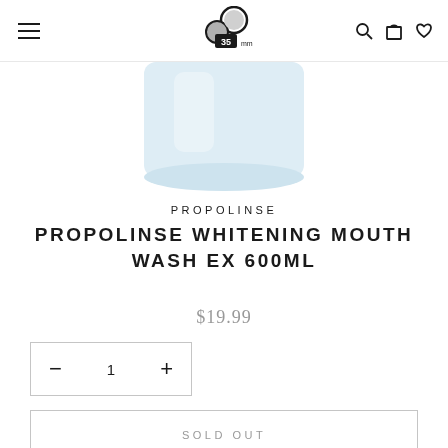PROPOLINSE store header with logo, hamburger menu, search, cart, and wishlist icons
[Figure (photo): Bottom portion of a white Propolinse Whitening Mouth Wash EX 600ml bottle on white background]
PROPOLINSE
PROPOLINSE WHITENING MOUTH WASH EX 600ML
$19.99
— 1 +
SOLD OUT